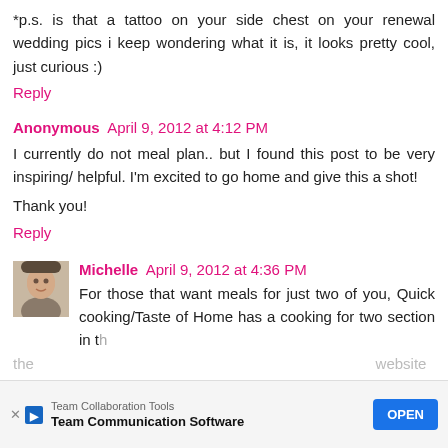*p.s. is that a tattoo on your side chest on your renewal wedding pics i keep wondering what it is, it looks pretty cool, just curious :)
Reply
Anonymous  April 9, 2012 at 4:12 PM
I currently do not meal plan.. but I found this post to be very inspiring/ helpful. I'm excited to go home and give this a shot!

Thank you!
Reply
Michelle  April 9, 2012 at 4:36 PM
For those that want meals for just two of you, Quick cooking/Taste of Home has a cooking for two section in the website a
[Figure (infographic): Ad banner: Team Collaboration Tools - Team Communication Software, with an OPEN button]